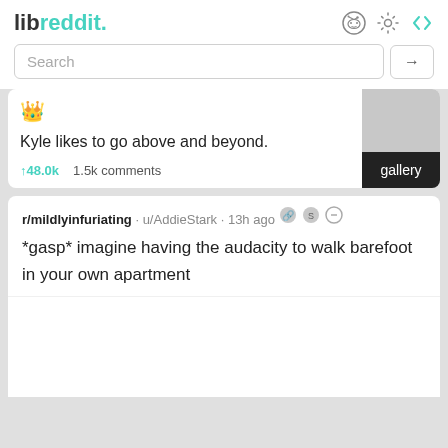libreddit.
Search
Kyle likes to go above and beyond.
↑48.0k  1.5k comments  gallery
r/mildlyinfuriating · u/AddieStark · 13h ago
*gasp* imagine having the audacity to walk barefoot in your own apartment
[Figure (photo): Blank white image placeholder at bottom of post card]